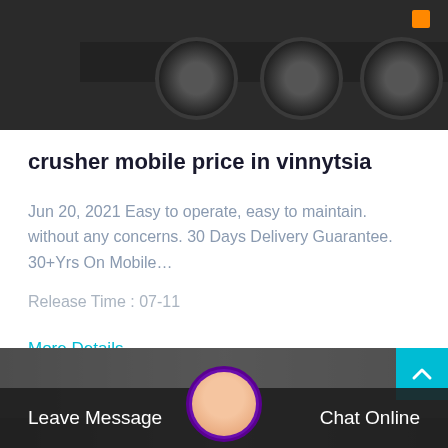[Figure (photo): Underside of a heavy truck showing wheels and axles, dark industrial photo]
crusher mobile price in vinnytsia
Jun 20, 2021 Easy to operate, easy to maintain. without any concerns. 30 Days Delivery Guarantee. 30+Yrs On Mobile…
Release Time : 07-11
More Details ——
[Figure (photo): Industrial factory background with customer service agent avatar and chat bar]
Leave Message
Chat Online